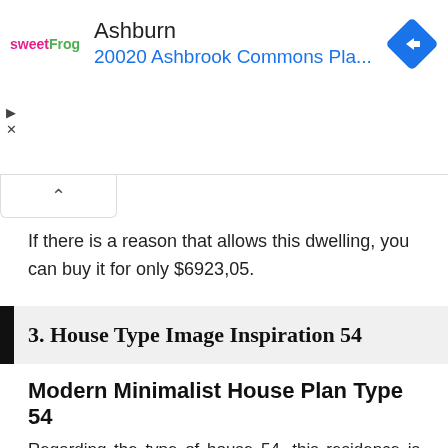[Figure (other): Advertisement banner: sweetFrog logo on left, text 'Ashburn' and '20020 Ashbrook Commons Pla...' in blue, blue diamond navigation icon on right, with play and close controls on left edge]
If there is a reason that allows this dwelling, you can buy it for only $6923,05.
3. House Type Image Inspiration 54
Modern Minimalist House Plan Type 54
Regarding the type of house 54, this residence is more often built in large and elite housing.
The house is spacious, enough to be occupied by a large